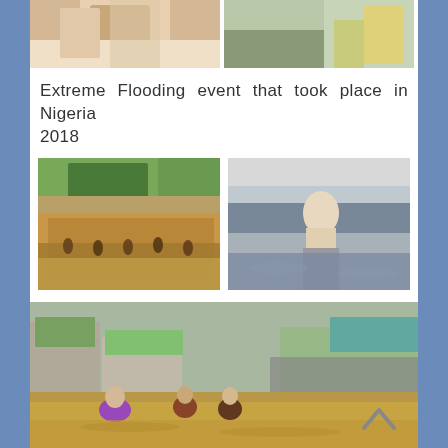[Figure (photo): Two partial photos at top: left shows a person in white clothing, right shows a person in a yellow vest]
Extreme Flooding event that took place in Nigeria 2018
[Figure (photo): Left: People wading through floodwater in a street with trees in background. Right: A man carrying belongings while wading through deep floodwater.]
[Figure (photo): Wide photo showing flooded buildings and community, people wading through floodwater, with crowds visible in background.]